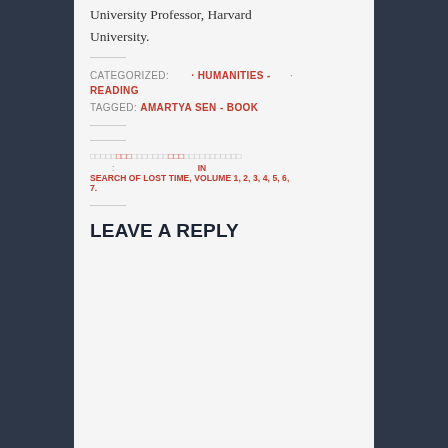University Professor, Harvard University.
CATEGORIZED: · HUMANITIES - · READING
TAGGED: AMARTYA SEN - BOOK
← [navigation links] IN SEARCH OF LOST TIME, VOLUME 1, 2, 3, 4, 5, 6, 7.
LEAVE A REPLY